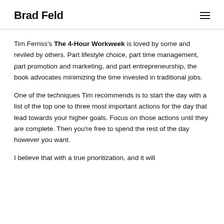Brad Feld
Tim Ferriss’s The 4-Hour Workweek is loved by some and reviled by others. Part lifestyle choice, part time management, part promotion and marketing, and part entrepreneurship, the book advocates minimizing the time invested in traditional jobs.
One of the techniques Tim recommends is to start the day with a list of the top one to three most important actions for the day that lead towards your higher goals. Focus on those actions until they are complete. Then you’re free to spend the rest of the day however you want.
I believe that with a true prioritization, and it will